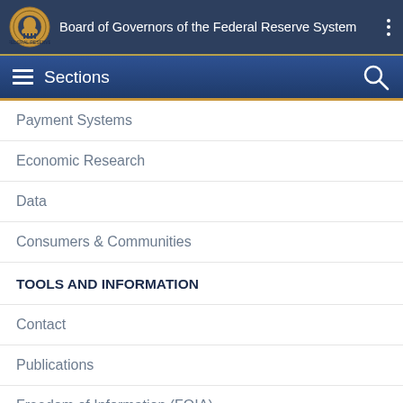Board of Governors of the Federal Reserve System
Sections
Payment Systems
Economic Research
Data
Consumers & Communities
TOOLS AND INFORMATION
Contact
Publications
Freedom of Information (FOIA)
Office of Inspector General
Budget & Performance | Audit